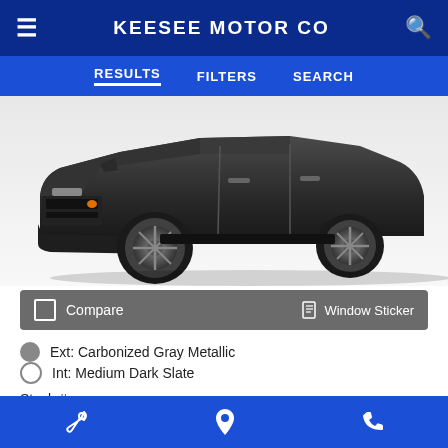KEESEE MOTOR CO
RESULTS  FILTERS  SEARCH
[Figure (photo): Front three-quarter view of a dark gray SUV/truck (Bronco Sport or similar) on a white background, showing the front bumper, grille, headlights, and chrome alloy wheels.]
Compare  Window Sticker
Ext: Carbonized Gray Metallic
Int: Medium Dark Slate
Stock #:
Fuel Type: Gasoline
MSRP  $33,485
Delivery & Handling  +$299
wrench icon  location icon  phone icon